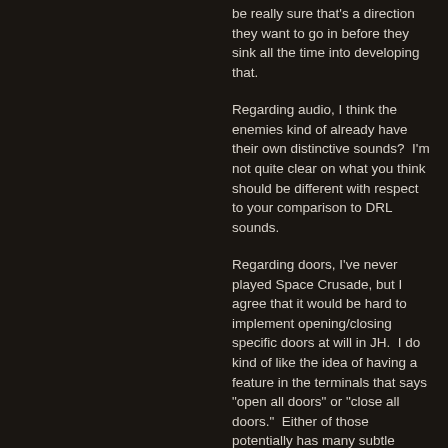be really sure that's a direction they want to go in before they sink all the time into developing that.
Regarding audio, I think the enemies kind of already have their own distinctive sounds?  I'm not quite clear on what you think should be different with respect to your comparison to DRL sounds.
Regarding doors, I've never played Space Crusade, but I agree that it would be hard to implement opening/closing specific doors at will in JH.  I do kind of like the idea of having a feature in the terminals that says "open all doors" or "close all doors."  Either of those potentially has many subtle tactical applications, considering the number of times I've been running away from an enemy and they got an extra shot at me, because I had to take an extra second to open a